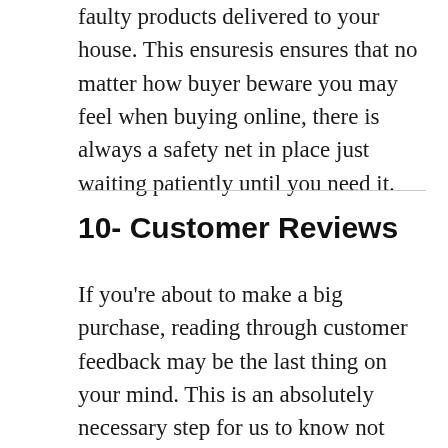faulty products delivered to your house. This ensuresis ensures that no matter how buyer beware you may feel when buying online, there is always a safety net in place just waiting patiently until you need it.
10- Customer Reviews
If you're about to make a big purchase, reading through customer feedback may be the last thing on your mind. This is an absolutely necessary step for us to know not only what we are getting into before making our purchases but also how well the seller fulfills their promises. These will be...